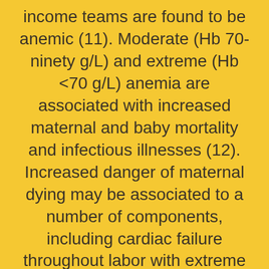income teams are found to be anemic (11). Moderate (Hb 70-ninety g/L) and extreme (Hb <70 g/L) anemia are associated with increased maternal and baby mortality and infectious illnesses (12). Increased danger of maternal dying may be associated to a number of components, including cardiac failure throughout labor with extreme anemia to lower tolerance of hemorrhagic blood